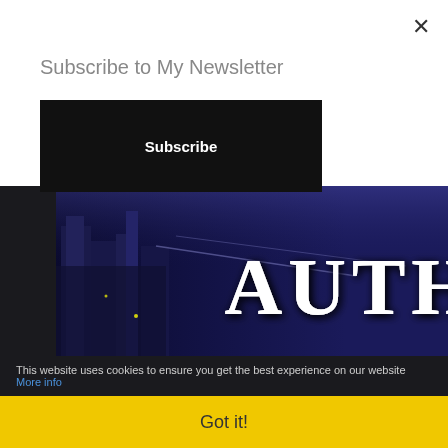×
Subscribe to My Newsletter
Subscribe
[Figure (illustration): Dark blue city-scape banner image with large 'AUTHOR' text in white serif font, glowing lights and server racks in background]
Subscribe to Get My Newsletter
* indicates required
Name
Email Address *
This website uses cookies to ensure you get the best experience on our website More info
Got it!